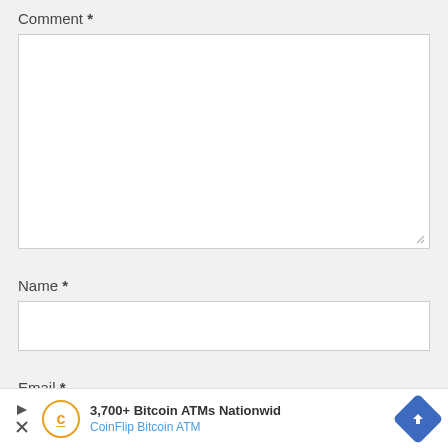Comment *
[Figure (screenshot): Empty comment textarea input field with resize handle at bottom-right]
Name *
[Figure (screenshot): Empty name text input field]
Email *
[Figure (screenshot): Empty email text input field (partially visible)]
[Figure (screenshot): Advertisement banner: 3,700+ Bitcoin ATMs Nationwid / CoinFlip Bitcoin ATM with play, cancel icons and blue diamond arrow icon]